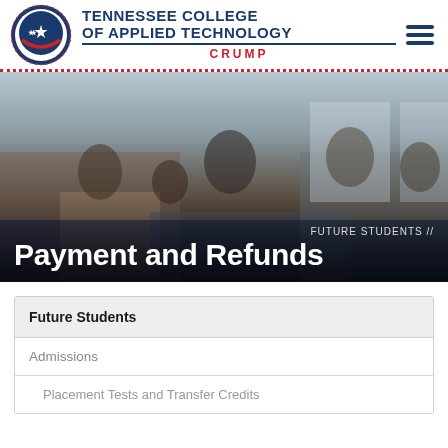[Figure (logo): Tennessee College of Applied Technology Crump logo with state seal circle and navigation hamburger menu]
[Figure (photo): Students sitting around tables in a common area, reading and discussing papers, with a smiling instructor. Overlay text reads FUTURE STUDENTS // and Payment and Refunds.]
FUTURE STUDENTS //
Payment and Refunds
Future Students
Admissions
Placement Tests and Transfer Credits